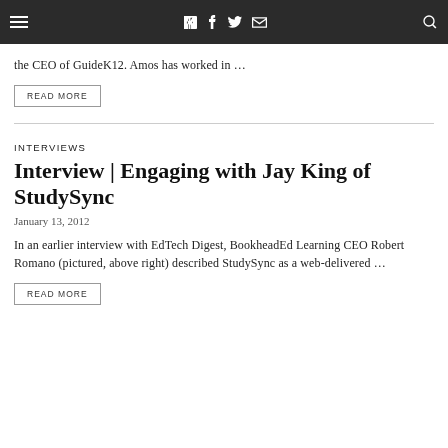≡  f  🐦  ✉  🔍
the CEO of GuideK12. Amos has worked in …
READ MORE
INTERVIEWS
Interview | Engaging with Jay King of StudySync
January 13, 2012
In an earlier interview with EdTech Digest, BookheadEd Learning CEO Robert Romano (pictured, above right) described StudySync as a web-delivered …
READ MORE